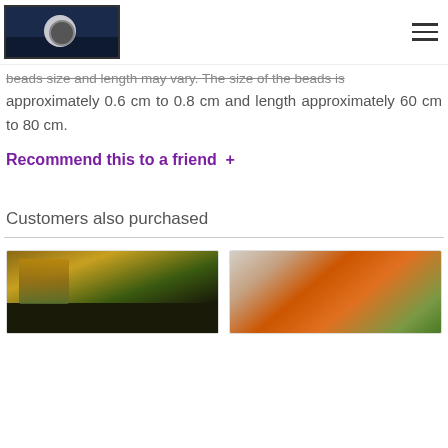[Logo] [Hamburger menu icon]
beads size and length may vary. The size of the beads is approximately 0.6 cm to 0.8 cm and length approximately 60 cm to 80 cm.
Recommend this to a friend +
Customers also purchased
[Figure (photo): Product image showing dark cylindrical objects with autumn leaves decoration]
[Figure (photo): Product image showing a small orange pumpkin held by fingers with green foliage background]